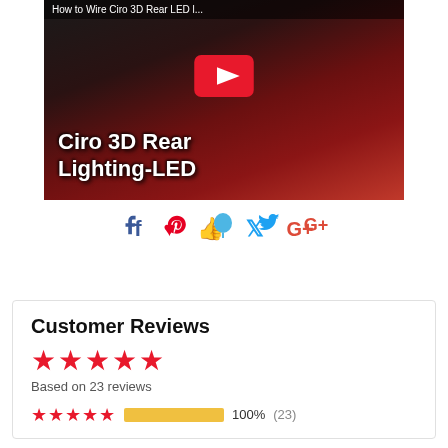[Figure (screenshot): YouTube video thumbnail for 'How to Wire Ciro 3D Rear LED...' showing a person working on a motorcycle, with the text 'Ciro 3D Rear Lighting-LED' overlaid and a YouTube play button in the center.]
[Figure (infographic): Social sharing icons row: Facebook (f), Pinterest, Fancy (balloon), Twitter bird, Google+]
Customer Reviews
★★★★★ Based on 23 reviews
★★★★★ 100% (23)